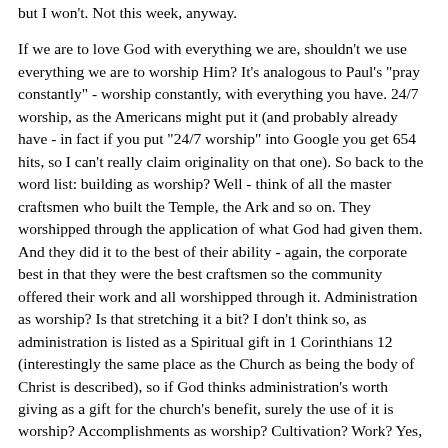but I won't. Not this week, anyway.
If we are to love God with everything we are, shouldn't we use everything we are to worship Him? It's analogous to Paul's "pray constantly" - worship constantly, with everything you have. 24/7 worship, as the Americans might put it (and probably already have - in fact if you put "24/7 worship" into Google you get 654 hits, so I can't really claim originality on that one). So back to the word list: building as worship? Well - think of all the master craftsmen who built the Temple, the Ark and so on. They worshipped through the application of what God had given them. And they did it to the best of their ability - again, the corporate best in that they were the best craftsmen so the community offered their work and all worshipped through it. Administration as worship? Is that stretching it a bit? I don't think so, as administration is listed as a Spiritual gift in 1 Corinthians 12 (interestingly the same place as the Church as being the body of Christ is described), so if God thinks administration's worth giving as a gift for the church's benefit, surely the use of it is worship? Accomplishments as worship? Cultivation? Work? Yes, they can all be routes to worship. Just as not all music is worship, but music can be used as worship, so every part of our lives can be worship: loving God with everything, worshipping 24/7.
OK Paul, you say, you've convinced me: now how do I achieve this 24/7 worship? Well, the first thing, I think, is to acknowledge...